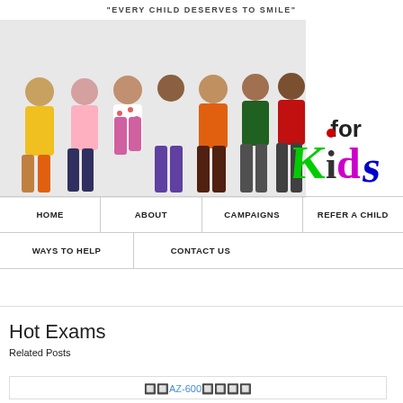[Figure (illustration): Save for Kids logo with children photo. Large grey text 'SAVE' behind photo of diverse children standing together. 'for' in dark bold text and 'Kids' in colorful cursive script (K green, i red dot, d pink/magenta, s blue). Tagline at top: "EVERY CHILD DESERVES TO SMILE"]
HOME
ABOUT
CAMPAIGNS
REFER A CHILD
WAYS TO HELP
CONTACT US
Hot Exams
Related Posts
🔲🔲AZ-600🔲🔲🔲🔲